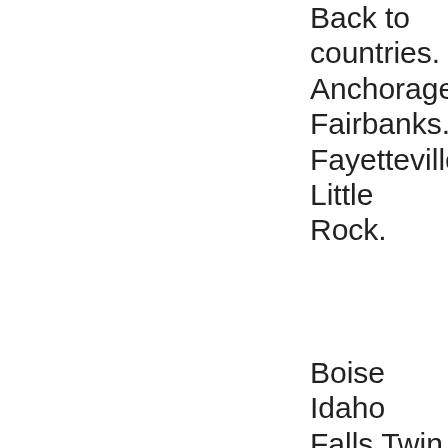Back to countries. Anchorage Fairbanks. Fayetteville Little Rock.
Boise Idaho Falls Twin Falls. Garden City Topeka Wichita. Lexington Louisville.
Arundel Bangor Portland. Biloxi Hattiesburg